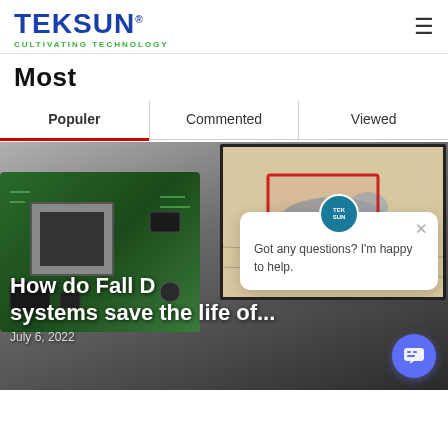TEKSUN® CULTIVATING TECHNOLOGY
Most
Populer | Commented | Viewed
[Figure (screenshot): Featured article image showing a circuit board (PCB) on the left and a monitor screen on the right displaying a person lying on the floor with a red bounding box overlay (fall detection system). Overlaid text reads: 'How do Fall D... systems save the life of...' with date 'July 6, 2022'. A chat popup appears on the right with a Teksun logo, close button, and text 'Got any questions? I'm happy to help.' A purple chat button is in the bottom-right corner.]